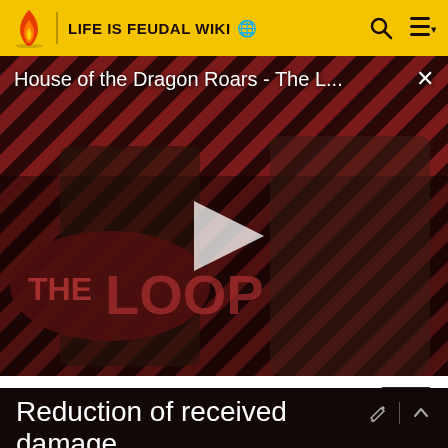LIFE IS FEUDAL WIKI
[Figure (screenshot): Video player showing 'House of the Dragon Roars - The L...' with play button overlay, THE LOOP branding, diagonal striped red/dark background with two characters]
House of the Dragon Roars - The Loop  01:43
ADVERTISEMENT
Reduction of received damage (≥50)